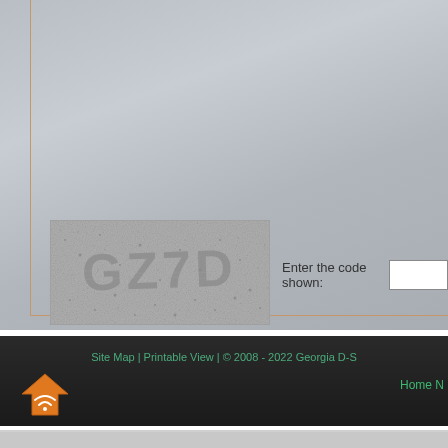[Figure (other): CAPTCHA image showing distorted text 'GZ7D' on a noisy speckled background]
Enter the code shown:
Site Map | Printable View | © 2008 - 2022 Georgia D-S
Home N